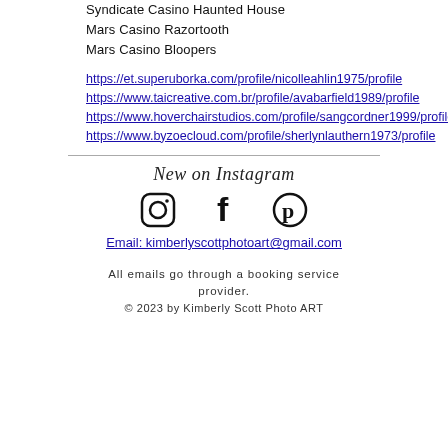Syndicate Casino Haunted House
Mars Casino Razortooth
Mars Casino Bloopers
https://et.superuborka.com/profile/nicolleahlin1975/profile
https://www.taicreative.com.br/profile/avabarfield1989/profile
https://www.hoverchairstudios.com/profile/sangcordner1999/profile
https://www.byzoecloud.com/profile/sherlynlauthern1973/profile
New on Instagram
[Figure (illustration): Social media icons: Instagram, Facebook, Pinterest]
Email: kimberlyscottphotoart@gmail.com
All emails go through a booking service provider.
© 2023 by Kimberly Scott Photo ART